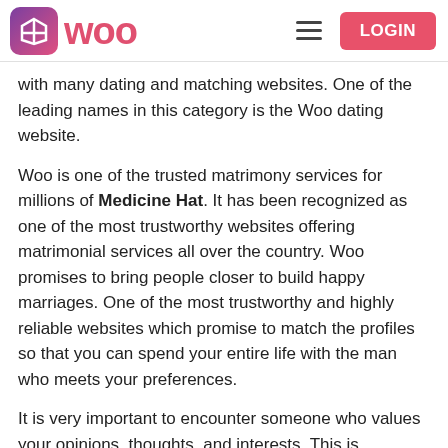[Figure (logo): Woo dating website logo with pink/purple gradient icon and 'woo' text in pink, hamburger menu icon, and LOGIN button in pink/red]
with many dating and matching websites. One of the leading names in this category is the Woo dating website.
Woo is one of the trusted matrimony services for millions of Medicine Hat. It has been recognized as one of the most trustworthy websites offering matrimonial services all over the country. Woo promises to bring people closer to build happy marriages. One of the most trustworthy and highly reliable websites which promise to match the profiles so that you can spend your entire life with the man who meets your preferences.
It is very important to encounter someone who values your opinions, thoughts, and interests. This is impossible to understand or gauge through either a girl or a boy in a single meeting. You need some time to understand the same and then decide for the rest of your life.